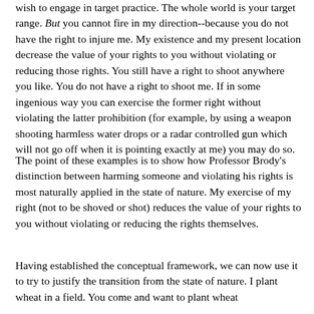wish to engage in target practice. The whole world is your target range. But you cannot fire in my direction--because you do not have the right to injure me. My existence and my present location decrease the value of your rights to you without violating or reducing those rights. You still have a right to shoot anywhere you like. You do not have a right to shoot me. If in some ingenious way you can exercise the former right without violating the latter prohibition (for example, by using a weapon shooting harmless water drops or a radar controlled gun which will not go off when it is pointing exactly at me) you may do so.
The point of these examples is to show how Professor Brody's distinction between harming someone and violating his rights is most naturally applied in the state of nature. My exercise of my right (not to be shoved or shot) reduces the value of your rights to you without violating or reducing the rights themselves.
Having established the conceptual framework, we can now use it to try to justify the transition from the state of nature. I plant wheat in a field. You come and want to plant wheat